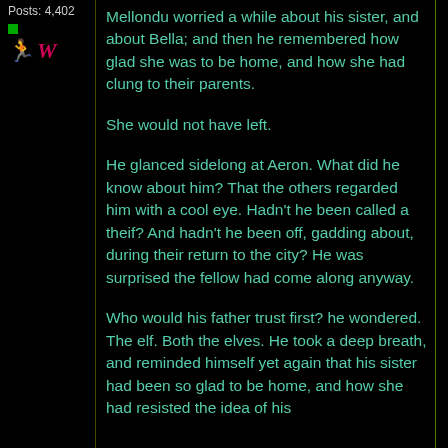Posts: 4,402
Mellondu worried a while about his sister, and about Bella; and then he remembered how glad she was to be home, and how she had clung to their parents.

She would not have left.

He glanced sidelong at Aeron. What did he know about him? That the others regarded him with a cool eye. Hadn't he been called a theif? And hadn't he been off, gadding about, during their return to the city? He was surprised the fellow had come along anyway.

Who would his father trust first? he wondered. The elf. Both the elves. He took a deep breath, and reminded himself yet again that his sister had been so glad to be home, and how she had resisted the idea of his